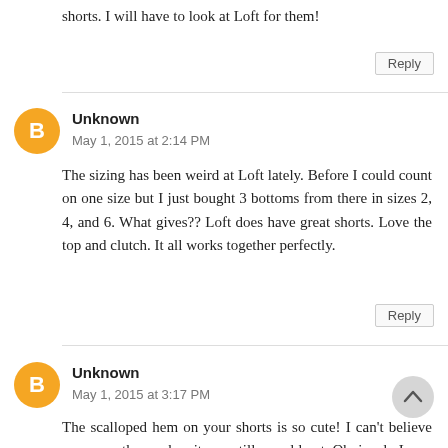shorts. I will have to look at Loft for them!
Reply
Unknown
May 1, 2015 at 2:14 PM
The sizing has been weird at Loft lately. Before I could count on one size but I just bought 3 bottoms from there in sizes 2, 4, and 6. What gives?? Loft does have great shorts. Love the top and clutch. It all works together perfectly.
Reply
Unknown
May 1, 2015 at 3:17 PM
The scalloped hem on your shorts is so cute! I can't believe you wore those when it was still so cold out. Obviously I